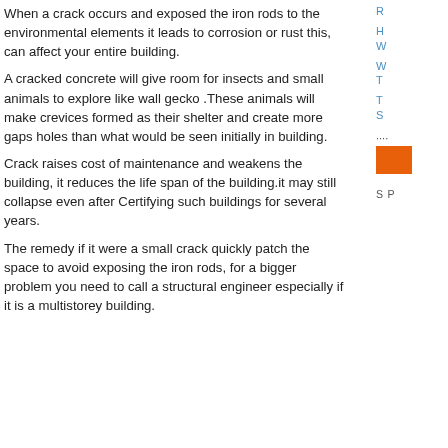When a crack occurs and exposed the iron rods to the environmental elements it leads to corrosion or rust this, can affect your entire building.
A cracked concrete will give room for insects and small animals to explore like wall gecko .These animals will make crevices formed as their shelter and create more gaps holes than what would be seen initially in building.
Crack raises cost of maintenance and weakens the building, it reduces the life span of the building.it may still collapse even after Certifying such buildings for several years.
The remedy if it were a small crack quickly patch the space to avoid exposing the iron rods, for a bigger problem you need to call a structural engineer especially if it is a multistorey building.
R...
H... W...
W... T...
T... S...
[Figure (other): Orange/brown button or banner element in sidebar]
S... P...